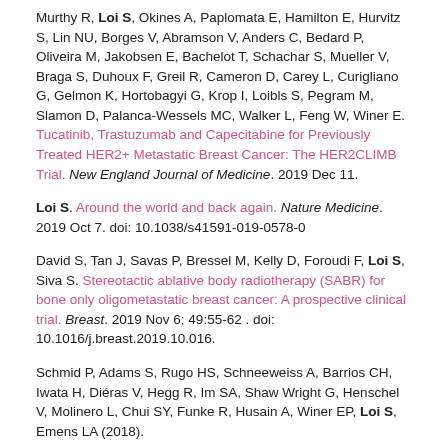Murthy R, Loi S, Okines A, Paplomata E, Hamilton E, Hurvitz S, Lin NU, Borges V, Abramson V, Anders C, Bedard P, Oliveira M, Jakobsen E, Bachelot T, Schachar S, Mueller V, Braga S, Duhoux F, Greil R, Cameron D, Carey L, Curigliano G, Gelmon K, Hortobagyi G, Krop I, Loibls S, Pegram M, Slamon D, Palanca-Wessels MC, Walker L, Feng W, Winer E. Tucatinib, Trastuzumab and Capecitabine for Previously Treated HER2+ Metastatic Breast Cancer: The HER2CLIMB Trial. New England Journal of Medicine. 2019 Dec 11.
Loi S. Around the world and back again. Nature Medicine. 2019 Oct 7. doi: 10.1038/s41591-019-0578-0
David S, Tan J, Savas P, Bressel M, Kelly D, Foroudi F, Loi S, Siva S. Stereotactic ablative body radiotherapy (SABR) for bone only oligometastatic breast cancer: A prospective clinical trial. Breast. 2019 Nov 6; 49:55-62 . doi: 10.1016/j.breast.2019.10.016.
Schmid P, Adams S, Rugo HS, Schneeweiss A, Barrios CH, Iwata H, Diéras V, Hegg R, Im SA, Shaw Wright G, Henschel V, Molinero L, Chui SY, Funke R, Husain A, Winer EP, Loi S, Emens LA (2018).